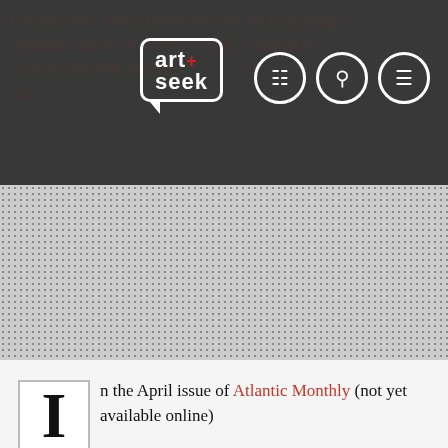[Figure (screenshot): Website navigation bar for Art+Seek with logo, grid icon, search icon, and menu icon. Background shows partially visible red article text about the Iraq War and Peggy Noonan referencing Cold War values.]
[Figure (other): Halftone/dotted pattern section, grey with repeating dot grid pattern]
n the April issue of Atlantic Monthly (not yet available online)